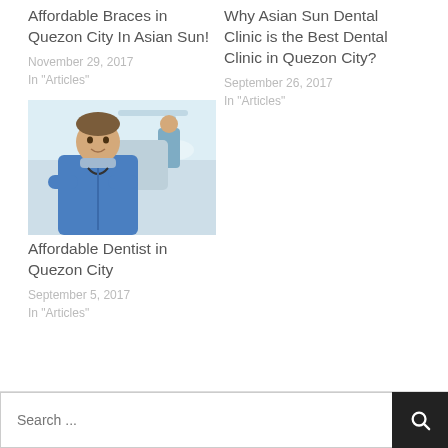Affordable Braces in Quezon City In Asian Sun!
November 29, 2017
In "Articles"
Why Asian Sun Dental Clinic is the Best Dental Clinic in Quezon City?
September 26, 2017
In "Articles"
[Figure (photo): Dental clinic photo showing a male dentist in blue scrubs with a surgical mask around his neck, arms crossed, smiling. Behind him are other dental staff and a patient in a dental chair.]
Affordable Dentist in Quezon City
September 5, 2017
In "Articles"